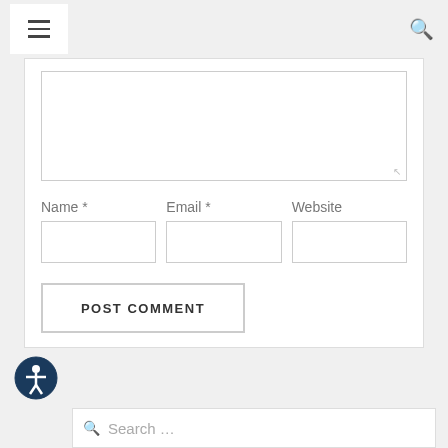Navigation header with hamburger menu and search icon
[Figure (screenshot): Web form with textarea for comment, fields for Name, Email, Website, and a POST COMMENT button]
[Figure (other): Accessibility icon (person in circle) and search bar with placeholder text 'Search...']